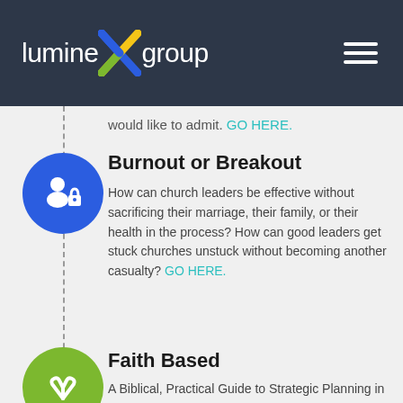[Figure (logo): LumineX Group logo with stylized X in blue, green, and yellow on dark background, with hamburger menu icon on right]
would like to admit. GO HERE.
Burnout or Breakout
How can church leaders be effective without sacrificing their marriage, their family, or their health in the process? How can good leaders get stuck churches unstuck without becoming another casualty? GO HERE.
Faith Based
A Biblical, Practical Guide to Strategic Planning in the Church . GO HERE.